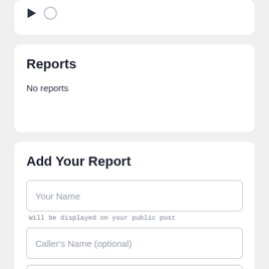[Figure (screenshot): Partial top card with play/media icon visible at top of page, cropped]
Reports
No reports
Add Your Report
Your Name
Will be displayed on your public post
Caller's Name (optional)
Comments